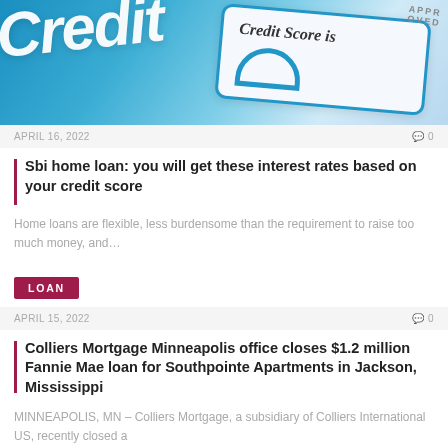[Figure (photo): Close-up photo of credit card and paper showing 'Credit Score is' text with blue design elements]
APRIL 16, 2022   💬 0
Sbi home loan: you will get these interest rates based on your credit score
Home loans are flexible, less burdensome than the requirement to raise too much money, and…
LOAN
APRIL 15, 2022   💬 0
Colliers Mortgage Minneapolis office closes $1.2 million Fannie Mae loan for Southpointe Apartments in Jackson, Mississippi
MINNEAPOLIS, MN – Colliers Mortgage, a subsidiary of Colliers International US, recently closed a